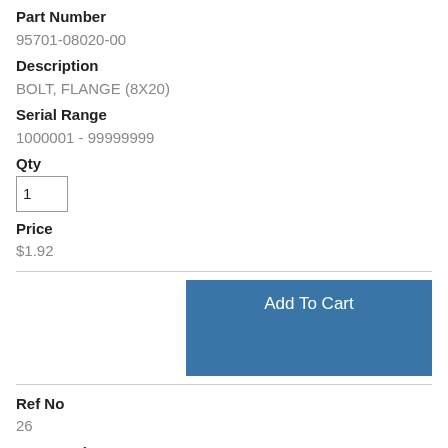Part Number
95701-08020-00
Description
BOLT, FLANGE (8X20)
Serial Range
1000001 - 99999999
Qty
1
Price
$1.92
Add To Cart
Ref No
26
Part Number
90029-733-000
Description
BOLT, FLANGE (8X22)
Serial Range
1004349 - 99999999